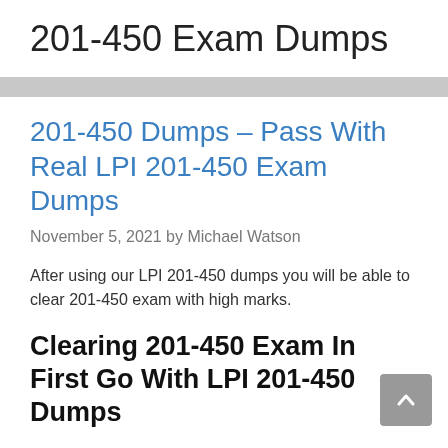201-450 Exam Dumps
201-450 Dumps – Pass With Real LPI 201-450 Exam Dumps
November 5, 2021 by Michael Watson
After using our LPI 201-450 dumps you will be able to clear 201-450 exam with high marks.
Clearing 201-450 Exam In First Go With LPI 201-450 Dumps